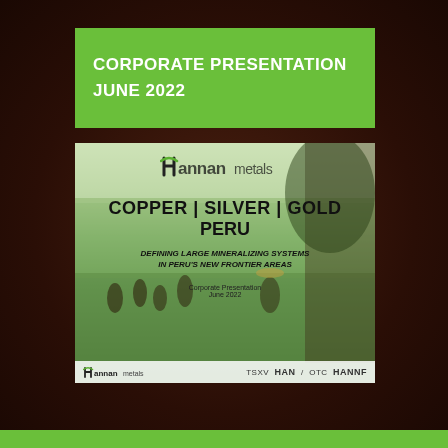CORPORATE PRESENTATION
JUNE 2022
[Figure (other): Hannan Metals corporate presentation slide cover featuring a background photo of people in a green field/jungle area, with company logo, text reading COPPER | SILVER | GOLD PERU, DEFINING LARGE MINERALIZING SYSTEMS IN PERU'S NEW FRONTIER AREAS, Corporate Presentation June 2022, and ticker information TSXV HAN / OTC HANNF]